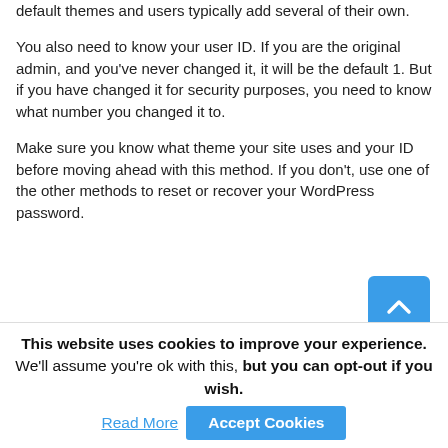default themes and users typically add several of their own.
You also need to know your user ID. If you are the original admin, and you've never changed it, it will be the default 1. But if you have changed it for security purposes, you need to know what number you changed it to.
Make sure you know what theme your site uses and your ID before moving ahead with this method. If you don't, use one of the other methods to reset or recover your WordPress password.
[Figure (other): Blue rounded square button with a white upward-pointing chevron arrow, used as a scroll-to-top button]
This website uses cookies to improve your experience. We'll assume you're ok with this, but you can opt-out if you wish. Read More   Accept Cookies